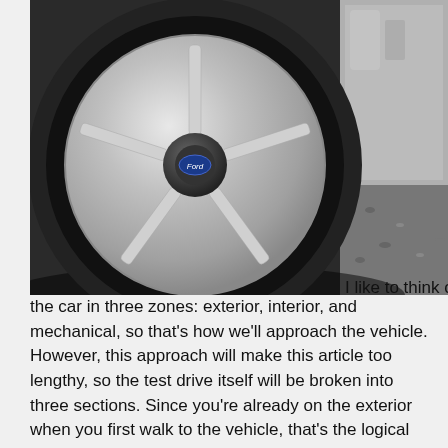[Figure (photo): Close-up photograph of a silver alloy wheel on a car, showing the tire, spokes, and hub cap with a Ford logo. The car body is visible on the right side, and gravel is visible at the bottom right.]
I like to think of the car in three zones: exterior, interior, and mechanical, so that's how we'll approach the vehicle. However, this approach will make this article too lengthy, so the test drive itself will be broken into three sections. Since you're already on the exterior when you first walk to the vehicle, that's the logical place to start. (However, the first thing you should do is start the engine. In this way, it can reach operating temperature while you're examining the car.)
Obviously, you want the car to look well taken care of, but look for more than a nice paint job. Are there any places that reveal damage? Are there any places where the paint is worn or chipped?